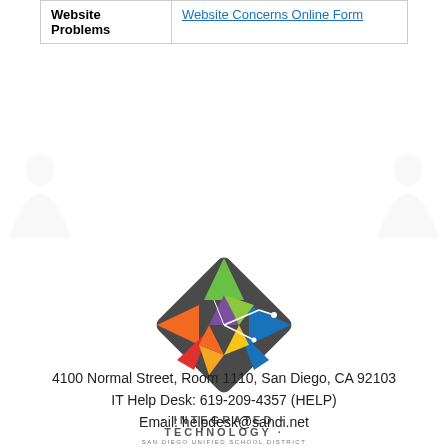|  |  |
| --- | --- |
| Website Problems | Website Concerns Online Form |
[Figure (logo): Integrated Technology San Diego Unified School District logo — a geometric diamond/star shape made of colorful triangular facets (green, orange, red, blue, yellow, purple) on a dark grey background, with the text INTEGRATED TECHNOLOGY and SAN DIEGO UNIFIED SCHOOL DISTRICT below.]
4100 Normal Street, Room 1110, San Diego, CA 92103
IT Help Desk: 619-209-4357 (HELP)
Email: helpdesk@sandi.net